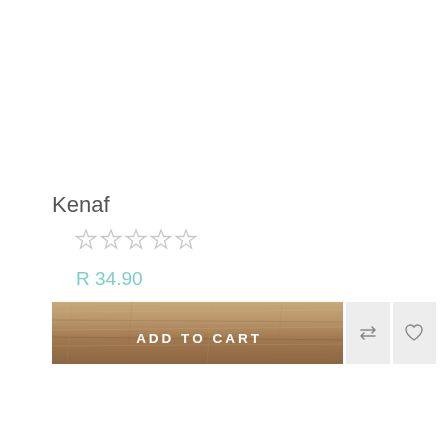Kenaf
☆☆☆☆☆
R 34.90
[Figure (screenshot): E-commerce product card with ADD TO CART button (wood-texture background), a compare/refresh icon button, and a heart/wishlist icon button]